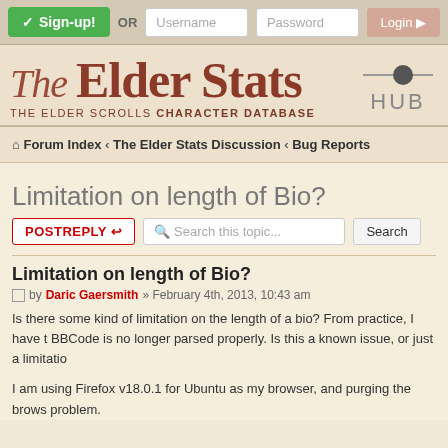✓ Sign-up! OR [Username] [Password] Login ▶
[Figure (logo): The Elder Stats logo with decorative serif font in brown/red, subtitle 'THE ELDER SCROLLS CHARACTER DATABASE', and HUB navigation element with slider graphic]
Forum Index ‹ The Elder Stats Discussion ‹ Bug Reports
Limitation on length of Bio?
POSTREPLY ↩  Search this topic...  Search
Limitation on length of Bio?
by Daric Gaersmith » February 4th, 2013, 10:43 am
Is there some kind of limitation on the length of a bio? From practice, I have t BBCode is no longer parsed properly. Is this a known issue, or just a limitatio
I am using Firefox v18.0.1 for Ubuntu as my browser, and purging the brows problem.